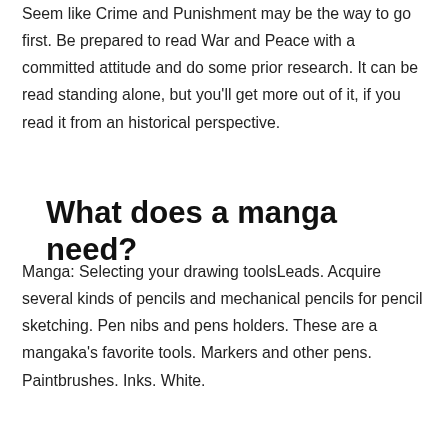Seem like Crime and Punishment may be the way to go first. Be prepared to read War and Peace with a committed attitude and do some prior research. It can be read standing alone, but you'll get more out of it, if you read it from an historical perspective.
What does a manga need?
Manga: Selecting your drawing toolsLeads. Acquire several kinds of pencils and mechanical pencils for pencil sketching. Pen nibs and pens holders. These are a mangaka's favorite tools. Markers and other pens. Paintbrushes. Inks. White.
Can a 13 year old watch The Shining?
Good for teens This is a great movie for people who love suspense. There are some things that kids cannot handle like the violence and swearing and possibly the drugs but I think that it is